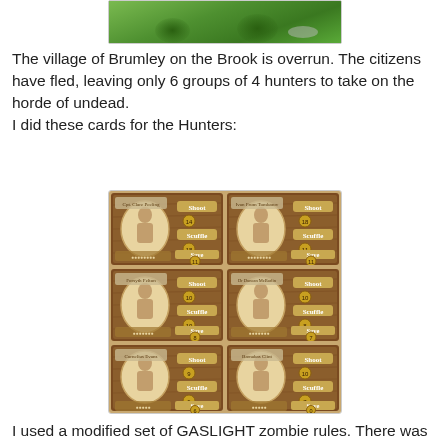[Figure (photo): Top portion of a grassy terrain photo, partially visible at top of page]
The village of Brumley on the Brook is overrun. The citizens have fled, leaving only 6 groups of 4 hunters to take on the horde of undead.
I did these cards for the Hunters:
[Figure (photo): Grid of 6 hunter character cards with wooden brown background, each card showing a character portrait and stats for Shoot, Scuffle, and Save with numeric values]
I used a modified set of GASLIGHT zombie rules. There was